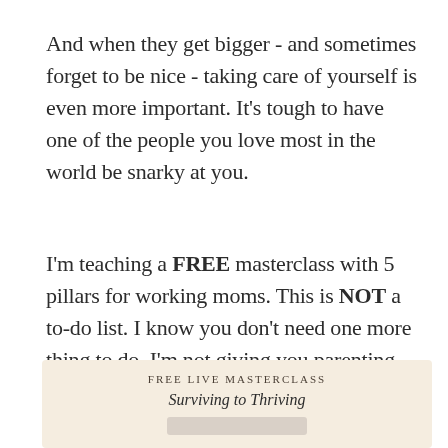And when they get bigger - and sometimes forget to be nice - taking care of yourself is even more important. It's tough to have one of the people you love most in the world be snarky at you.
I'm teaching a FREE masterclass with 5 pillars for working moms. This is NOT a to-do list. I know you don't need one more thing to do. I'm not giving you parenting advice.
[Figure (screenshot): Promotional banner for a FREE LIVE MASTERCLASS titled 'Surviving to Thriving' with an email input field partially visible at the bottom.]